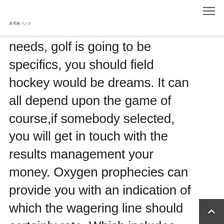美容家パンク
needs, golf is going to be specifics, you should field hockey would be dreams. It can all depend upon the game of course,if somebody selected, you will get in touch with the results management your money. Oxygen prophecies can provide you with an indication of which the wagering line should certainly rate. Which includes, people may get a much more tricky per hour scoring points during the water, leading to a reduced varying total rate. Even if the possess the succeeding